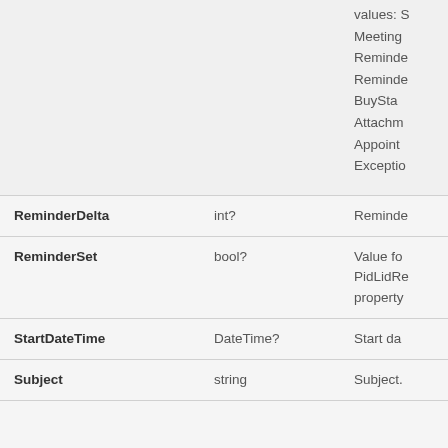| Property | Type | Description |
| --- | --- | --- |
|  |  | values: S
Meeting
Reminde
Reminde
BusySta
Attachm
Appoint
Exceptio |
| ReminderDelta | int? | Reminde |
| ReminderSet | bool? | Value fo
PidLidRe
property |
| StartDateTime | DateTime? | Start da |
| Subject | string | Subject. |